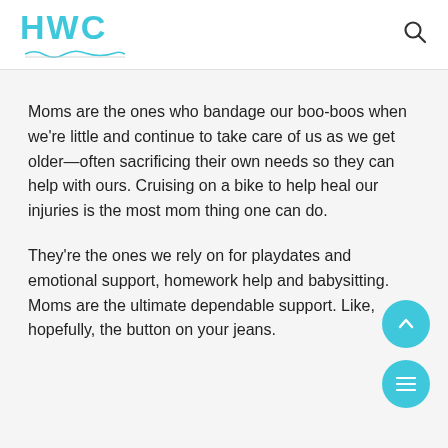HWC
Moms are the ones who bandage our boo-boos when we're little and continue to take care of us as we get older—often sacrificing their own needs so they can help with ours. Cruising on a bike to help heal our injuries is the most mom thing one can do.
They're the ones we rely on for playdates and emotional support, homework help and babysitting. Moms are the ultimate dependable support. Like, hopefully, the button on your jeans.